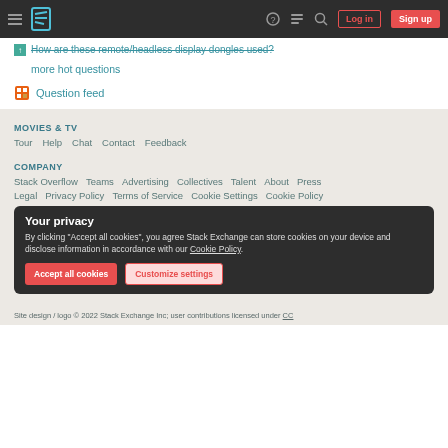Stack Exchange navigation header with hamburger menu, logo, help, chat, search, Log in, Sign up
How are these remote/headless display dongles used?
more hot questions
Question feed
MOVIES & TV
Tour  Help  Chat  Contact  Feedback
COMPANY
Stack Overflow  Teams  Advertising  Collectives  Talent  About  Press
Legal  Privacy Policy  Terms of Service  Cookie Settings  Cookie Policy
Your privacy
By clicking "Accept all cookies", you agree Stack Exchange can store cookies on your device and disclose information in accordance with our Cookie Policy.
Site design / logo © 2022 Stack Exchange Inc; user contributions licensed under CC